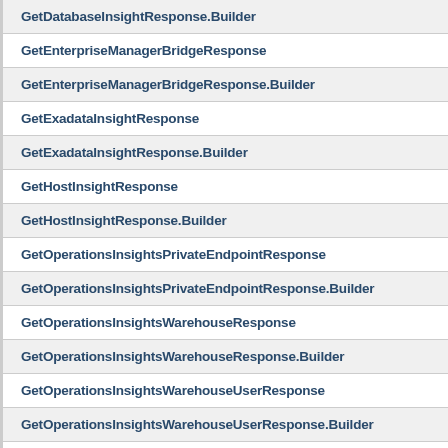GetDatabaseInsightResponse.Builder
GetEnterpriseManagerBridgeResponse
GetEnterpriseManagerBridgeResponse.Builder
GetExadataInsightResponse
GetExadataInsightResponse.Builder
GetHostInsightResponse
GetHostInsightResponse.Builder
GetOperationsInsightsPrivateEndpointResponse
GetOperationsInsightsPrivateEndpointResponse.Builder
GetOperationsInsightsWarehouseResponse
GetOperationsInsightsWarehouseResponse.Builder
GetOperationsInsightsWarehouseUserResponse
GetOperationsInsightsWarehouseUserResponse.Builder
GetOpsiDataObjectResponse
GetOpsiDataObjectResponse.Builder